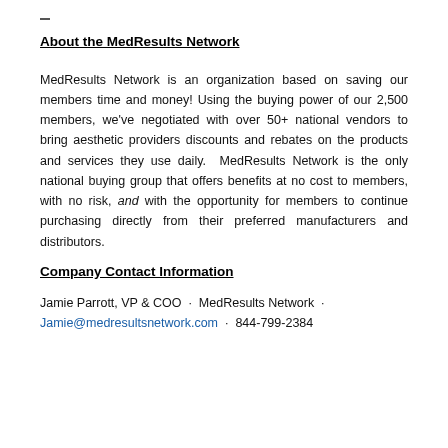About the MedResults Network
MedResults Network is an organization based on saving our members time and money! Using the buying power of our 2,500 members, we've negotiated with over 50+ national vendors to bring aesthetic providers discounts and rebates on the products and services they use daily. MedResults Network is the only national buying group that offers benefits at no cost to members, with no risk, and with the opportunity for members to continue purchasing directly from their preferred manufacturers and distributors.
Company Contact Information
Jamie Parrott, VP & COO · MedResults Network · Jamie@medresultsnetwork.com · 844-799-2384